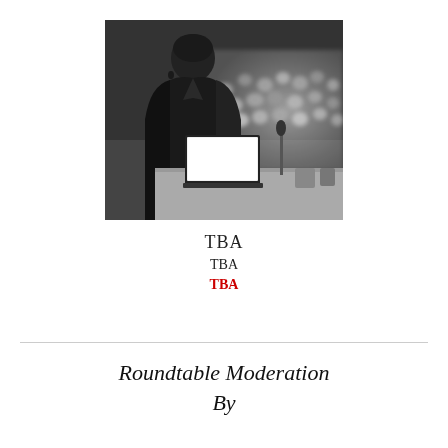[Figure (photo): Black and white photo of a person seen from behind at a podium or desk with an open laptop, facing a large blurred audience in an auditorium or conference hall.]
TBA
TBA
TBA
Roundtable Moderation By